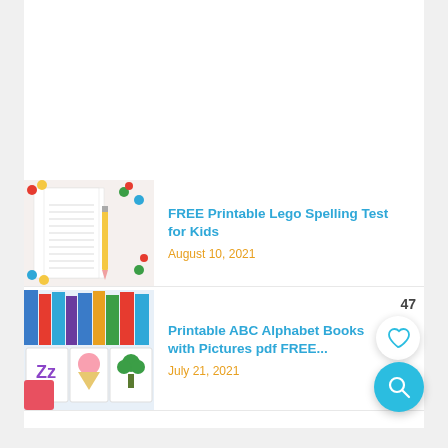[Figure (screenshot): Thumbnail image of a Lego-themed spelling test worksheet with colorful Lego pieces and a pencil]
FREE Printable Lego Spelling Test for Kids
August 10, 2021
[Figure (screenshot): Thumbnail image of ABC alphabet flashcards with colorful pictures, showing letters like Zz, ice cream cone, and broccoli]
Printable ABC Alphabet Books with Pictures pdf FREE...
July 21, 2021